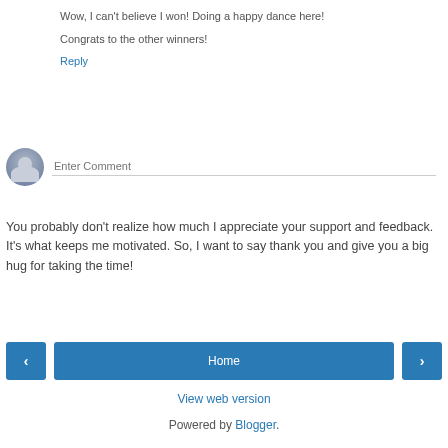Wow, I can't believe I won! Doing a happy dance here!

Congrats to the other winners!

Reply
[Figure (other): User avatar placeholder circle with silhouette icon and Enter Comment input field]
You probably don't realize how much I appreciate your support and feedback. It's what keeps me motivated. So, I want to say thank you and give you a big hug for taking the time!
< Home > View web version Powered by Blogger.